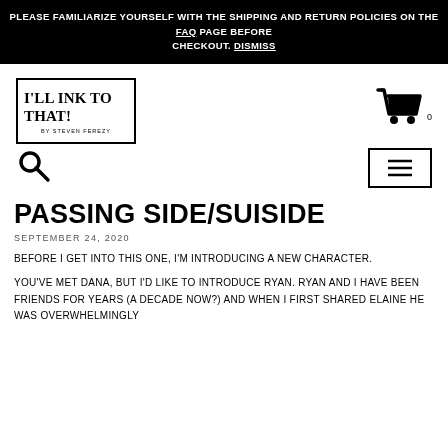PLEASE FAMILIARIZE YOURSELF WITH THE SHIPPING AND RETURN POLICIES ON THE FAQ PAGE BEFORE CHECKOUT. DISMISS
[Figure (logo): I'll Ink To That! by Steven Ferezy logo in a rectangular border]
[Figure (other): Shopping cart icon with 0 items]
[Figure (other): Search magnifying glass icon]
[Figure (other): Hamburger menu button]
PASSING SIDE/SUISIDE
SEPTEMBER 24, 2020
BEFORE I GET INTO THIS ONE, I'M INTRODUCING A NEW CHARACTER.
YOU'VE MET DANA, BUT I'D LIKE TO INTRODUCE RYAN. RYAN AND I HAVE BEEN FRIENDS FOR YEARS (A DECADE NOW?) AND WHEN I FIRST SHARED ELAINE HE WAS OVERWHELMINGLY